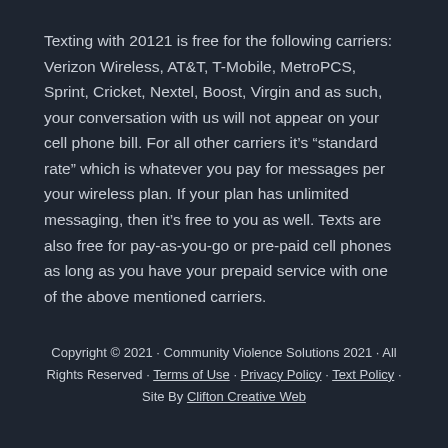Texting with 20121 is free for the following carriers: Verizon Wireless, AT&T, T-Mobile, MetroPCS, Sprint, Cricket, Nextel, Boost, Virgin and as such, your conversation with us will not appear on your cell phone bill. For all other carriers it’s “standard rate” which is whatever you pay for messages per your wireless plan. If your plan has unlimited messaging, then it’s free to you as well. Texts are also free for pay-as-you-go or pre-paid cell phones as long as you have your prepaid service with one of the above mentioned carriers.
Copyright © 2021 · Community Violence Solutions 2021 · All Rights Reserved · Terms of Use · Privacy Policy · Text Policy · Site By Clifton Creative Web